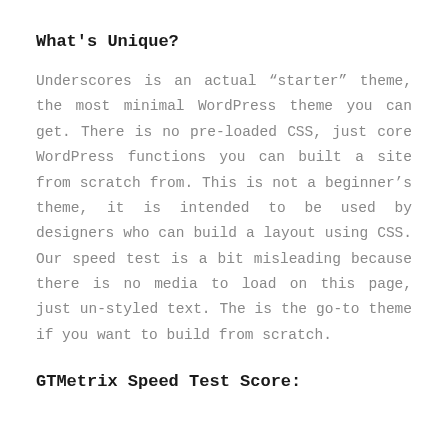What's Unique?
Underscores is an actual “starter” theme, the most minimal WordPress theme you can get. There is no pre-loaded CSS, just core WordPress functions you can built a site from scratch from. This is not a beginner’s theme, it is intended to be used by designers who can build a layout using CSS. Our speed test is a bit misleading because there is no media to load on this page, just un-styled text. The is the go-to theme if you want to build from scratch.
GTMetrix Speed Test Score: